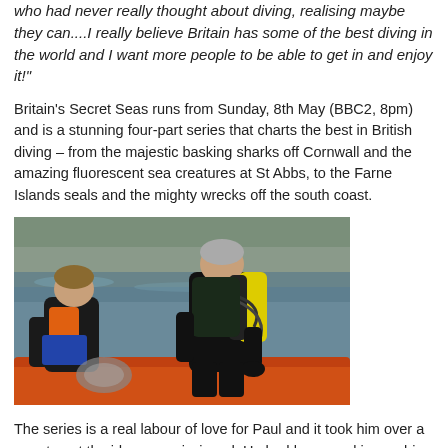who had never really thought about diving, realising maybe they can....I really believe Britain has some of the best diving in the world and I want more people to be able to get in and enjoy it!"
Britain’s Secret Seas runs from Sunday, 8th May (BBC2, 8pm) and is a stunning four-part series that charts the best in British diving – from the majestic basking sharks off Cornwall and the amazing fluorescent sea creatures at St Abbs, to the Farne Islands seals and the mighty wrecks off the south coast.
[Figure (photo): Two divers in wetsuits on a boat, one standing with scuba tanks (yellow and black) and equipment, the other crouching and working with gear. Rocky coastline in background.]
The series is a real labour of love for Paul and it took him over a year to get the idea commissioned. He had been working on his BBC’s Oceans series – the warm water precursor to Britain’s Secret Seas – but knew there was a series on the UK to be made.
It was eventually a survey by Natural England, which revealed that while the British people have a real affinity with our coastline, the